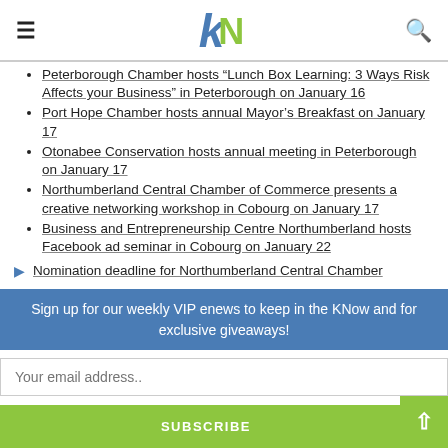kN logo with hamburger menu and search icon
Peterborough Chamber hosts “Lunch Box Learning: 3 Ways Risk Affects your Business” in Peterborough on January 16
Port Hope Chamber hosts annual Mayor’s Breakfast on January 17
Otonabee Conservation hosts annual meeting in Peterborough on January 17
Northumberland Central Chamber of Commerce presents a creative networking workshop in Cobourg on January 17
Business and Entrepreneurship Centre Northumberland hosts Facebook ad seminar in Cobourg on January 22
Nomination deadline for Northumberland Central Chamber
Sign up for our weekly VIP enews to keep in the KNow and for exclusive giveaways!
Your email address..
SUBSCRIBE